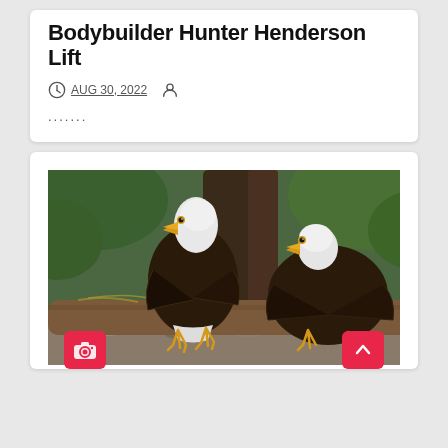Bodybuilder Hunter Henderson Lift
AUG 30, 2022
.......
[Figure (photo): Two bald eagles perched on a log in a natural setting with trees and green foliage in the background.]